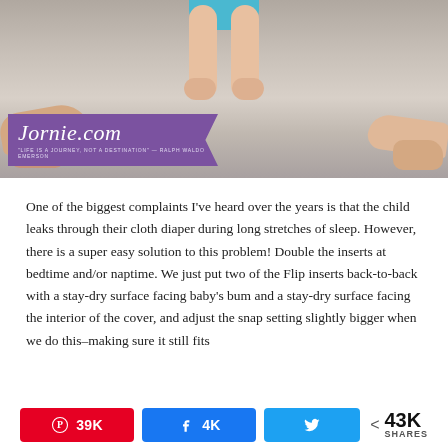[Figure (photo): Photo of children on carpet, baby wearing teal/blue diaper with bare feet visible in center, adult/child hands visible on sides. Purple ribbon banner overlay with Jornie.com logo text and tagline 'Life is a journey, not a destination - Ralph Waldo Emerson'.]
One of the biggest complaints I've heard over the years is that the child leaks through their cloth diaper during long stretches of sleep. However, there is a super easy solution to this problem! Double the inserts at bedtime and/or naptime. We just put two of the Flip inserts back-to-back with a stay-dry surface facing baby's bum and a stay-dry surface facing the interior of the cover, and adjust the snap setting slightly bigger when we do this–making sure it still fits